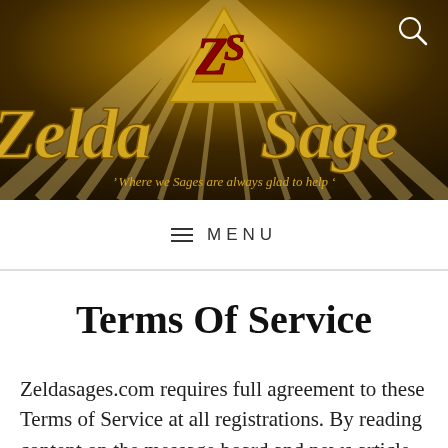[Figure (illustration): Zelda Sages website banner with golden background, light rays, large stylized ZELDA on the left and SAGE on the right in golden italic font, a triangular logo (triforce shape) with ZS letters in the center, and the tagline 'Where we Sages are always glad to help' at the bottom. A search icon is in the top right.]
≫ Where we Sages are always glad to help ≪
MENU
Terms Of Service
Zeldasages.com requires full agreement to these Terms of Service at all registrations. By reading content on the message board and news article comments you also agree to the acceptance of these